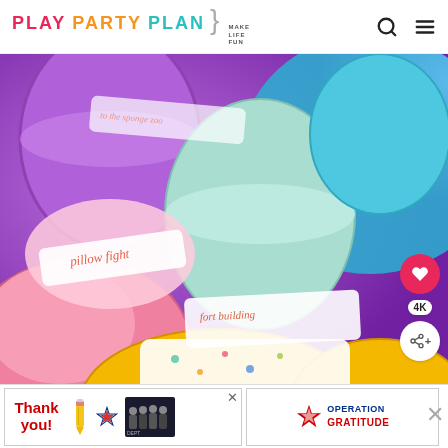PLAY PARTY PLAN | MAKE LIFE FUN
[Figure (photo): Close-up photo of colorful plastic Easter eggs (purple, pink, mint, teal, yellow, orange) that are open with small white paper slips inside that have handwritten or printed activity ideas like 'pillow fight' and 'fort building'.]
[Figure (infographic): Side action buttons: heart/save button showing 4K saves, and a share button]
[Figure (photo): Advertisement banner showing 'Thank you!' text with pencil and American flag star, firefighters group photo, and Operation Gratitude logo with X close button]